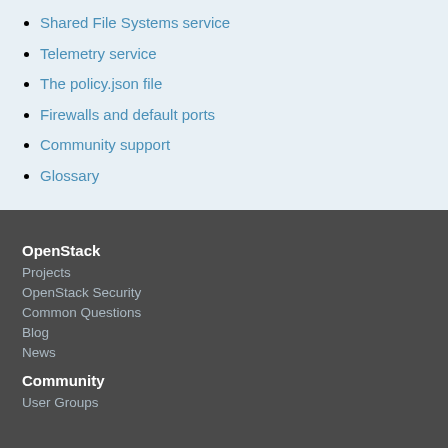Shared File Systems service
Telemetry service
The policy.json file
Firewalls and default ports
Community support
Glossary
OpenStack
Projects
OpenStack Security
Common Questions
Blog
News
Community
User Groups